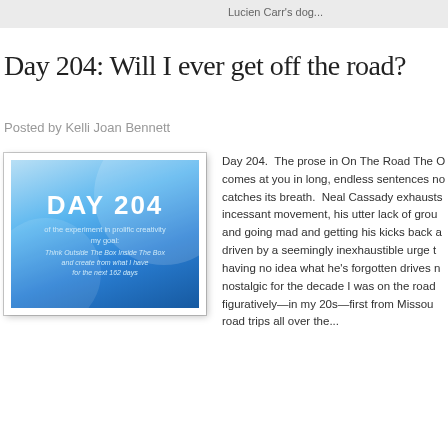Lucien Carr's dog...
Day 204: Will I ever get off the road?
Posted by Kelli Joan Bennett
[Figure (illustration): Blue gradient card image with 'DAY 204' in bold white text, subtitle text reading 'of the experiment in prolific creativity my goal: Think Outside The Box Inside The Box and create from what I have for the next 162 days']
Day 204.  The prose in On The Road The O comes at you in long, endless sentences no catches its breath.  Neal Cassady exhausts incessant movement, his utter lack of grou and going mad and getting his kicks back a driven by a seemingly inexhaustible urge t having no idea what he's forgotten drives n nostalgic for the decade I was on the road figuratively—in my 20s—first from Missou road trips all over the...